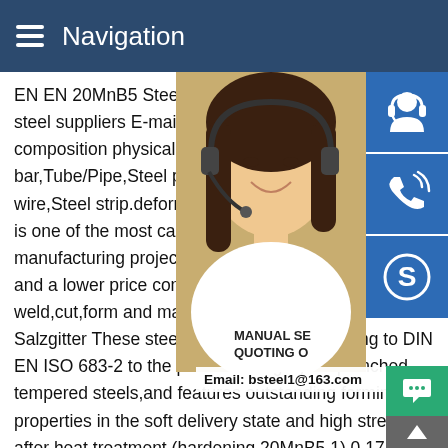Navigation
EN EN 20MnB5 Steel Physical Properties - China steel suppliers E-mail sales@stee Chemical composition physical Properties Round bar,Tube/Pipe,Steel plate,Sheet,Co rolling,Steel wire,Steel strip.deformed 15 6 Online!A36 Steel Plate is one of the most carbon steel plates used in manufacturing projects.A36 Steel plate adds strength and a lower price compared to other grades of weld,cut,form and machine.Boron-alloyed steel - Salzgitter These steel grades belong according to DIN EN ISO 683-2 to the product category of quenched tempered steels,and features outstanding forming properties in the soft delivery state and high strength after heat treatment (hardening 20MnB5 1) 0,17 - 0,23 1,10 - 1,40 0,40 0.025 0.035 - 0.400 - 0,0008 - 0,0050
[Figure (photo): Customer service representative woman with headset, partially visible, overlaid with blue icon buttons for customer service, phone, and Skype on the right side]
MANUAL SE QUOTING O Email: bsteel1@163.com